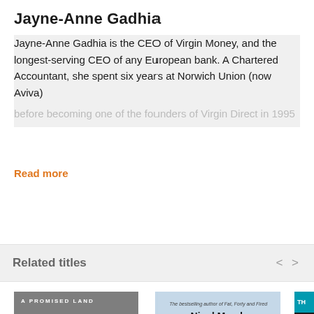Jayne-Anne Gadhia
Jayne-Anne Gadhia is the CEO of Virgin Money, and the longest-serving CEO of any European bank. A Chartered Accountant, she spent six years at Norwich Union (now Aviva) before becoming one of the founders of Virgin Direct in 1995
Read more
Related titles
[Figure (illustration): Book cover: A Promised Land, showing a black and white portrait of a man's head]
[Figure (illustration): Book cover: Nigel Marsh book, showing a hamster wearing a party hat, subtitle 'The bestselling author of Fat, Forty and Fired']
[Figure (illustration): Partial view of a third book cover, teal/cyan colored with partial text visible]